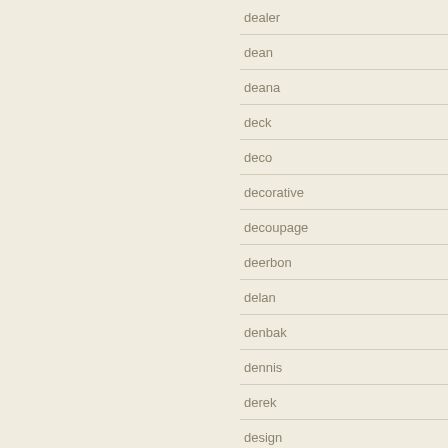dealer
dean
deana
deck
deco
decorative
decoupage
deerbon
delan
denbak
dennis
derek
design
desimone
detailed'83
deutsche